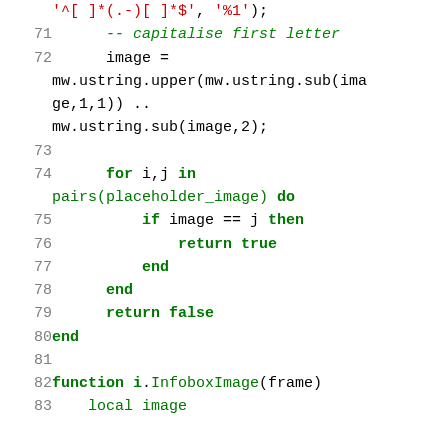Code listing lines 70-83, Lua source code showing string manipulation and placeholder image checking logic